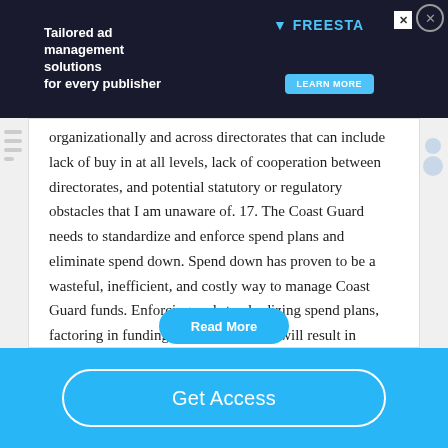[Figure (screenshot): Advertisement banner: dark background with 'Tailored ad management solutions for every publisher' text, Freesta logo with 'Learn More' button, close X button.]
organizationally and across directorates that can include lack of buy in at all levels, lack of cooperation between directorates, and potential statutory or regulatory obstacles that I am unaware of. 17. The Coast Guard needs to standardize and enforce spend plans and eliminate spend down. Spend down has proven to be a wasteful, inefficient, and costly way to manage Coast Guard funds. Enforcing and standardizing spend plans, factoring in funding for contingencies will result in efficiencies in man hours, better audit compliance, and…
Read More
Get Access